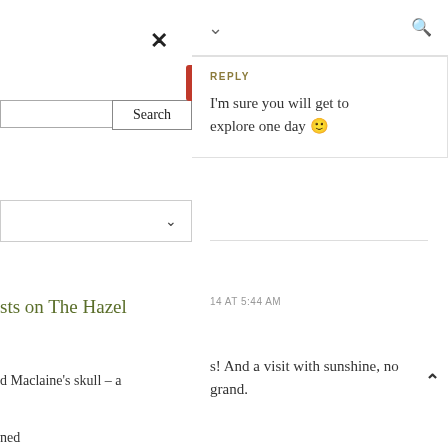×
Search
∨
sts on The Hazel
d Maclaine's skull – a
ned
∨
🔍
REPLY
I'm sure you will get to explore one day 🙂
14 AT 5:44 AM
s! And a visit with sunshine, no grand.